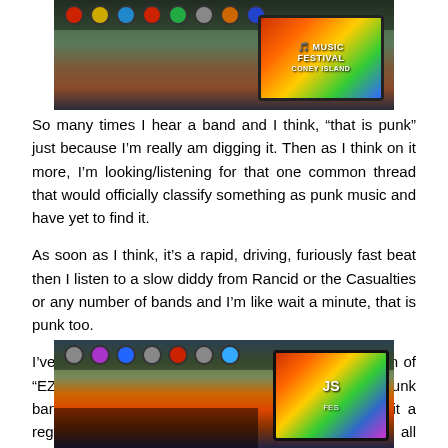[Figure (photo): Photo of a music festival stage with colorful signage reading 'Music Festival' with stage rigging and lighting visible at top of page]
So many times I hear a band and I think, “that is punk” just because I’m really am digging it. Then as I think on it more, I’m looking/listening for that one common thread that would officially classify something as punk music and have yet to find it.
As soon as I think, it’s a rapid, driving, furiously fast beat then I listen to a slow diddy from Rancid or the Casualties or any number of bands and I’m like wait a minute, that is punk too.
I’ve considered putting together an i-tunes compilation of “EZ Listening” punk if you will, because so many punk bands have a ballad or two in their repertoire, be it a reggae inspired dub song or straight up ballad (my all time favorite, “Winners and Losers” by Social Distortion.. check it out).
[Figure (photo): Photo of a colorful music festival stage with ornate decorative signage and stage lighting, performer or crew member visible at bottom]